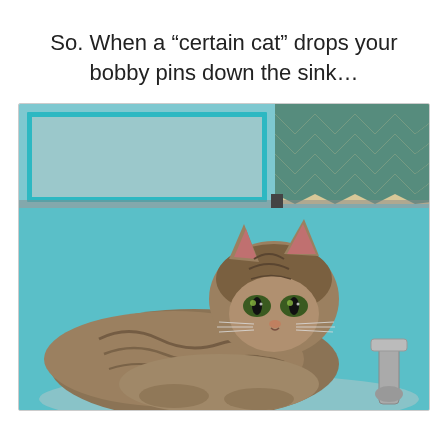So. When a “certain cat” drops your bobby pins down the sink…
[Figure (photo): A fluffy long-haired tabby cat sitting in a bathroom sink, looking directly at the camera with a calm expression. Behind the cat is a teal/turquoise blue wall, a mirror with a teal frame on the left, and a shelf with a chevron-patterned background on the upper right. A silver faucet is visible to the right of the cat.]